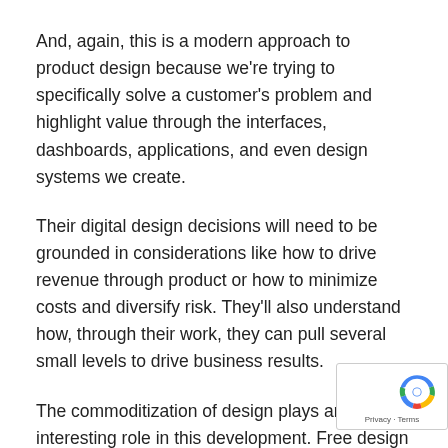And, again, this is a modern approach to product design because we're trying to specifically solve a customer's problem and highlight value through the interfaces, dashboards, applications, and even design systems we create.
Their digital design decisions will need to be grounded in considerations like how to drive revenue through product or how to minimize costs and diversify risk. They'll also understand how, through their work, they can pull several small levels to drive business results.
The commoditization of design plays an interesting role in this development. Free design resources, design systems, and done-for-you design tooling is freeing designers up – or, at the very least, giving them the option – to move up the value chain by upgrading their own problem solving and business thinking skills.
Designers who are braced for this type of change will